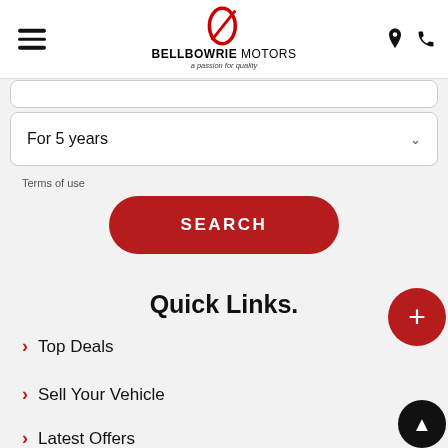[Figure (logo): Bellbowrie Motors logo with red stylized D symbol and text BELLBOWRIE MOTORS a passion for quality]
[Figure (other): Dropdown selector showing 'For 5 years' with chevron]
Terms of use
[Figure (other): Red rounded SEARCH button]
Quick Links.
Top Deals
Sell Your Vehicle
Latest Offers